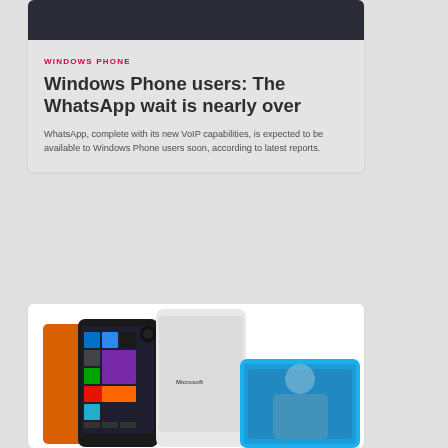[Figure (photo): Dark smartphone screen background image at top of article card]
WINDOWS PHONE
Windows Phone users: The WhatsApp wait is nearly over
WhatsApp, complete with its new VoIP capabilities, is expected to be available to Windows Phone users soon, according to latest reports.
[Figure (photo): Multiple Windows Phone / Microsoft Lumia smartphones shown from different angles in orange, black, white, and blue colors]